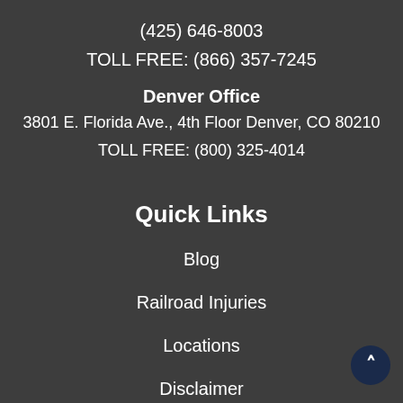(425) 646-8003
TOLL FREE: (866) 357-7245
Denver Office
3801 E. Florida Ave., 4th Floor Denver, CO 80210
TOLL FREE: (800) 325-4014
Quick Links
Blog
Railroad Injuries
Locations
Disclaimer
Privacy Policy
Practice Areas